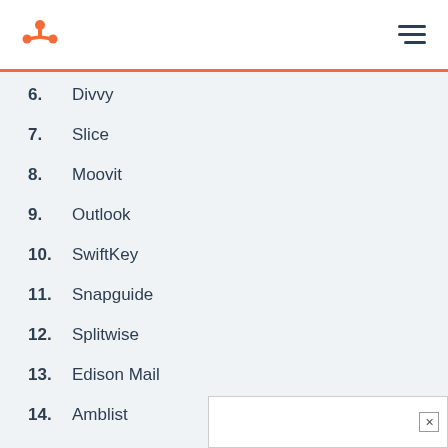HubSpot
6. Divvy
7. Slice
8. Moovit
9. Outlook
10. SwiftKey
11. Snapguide
12. Splitwise
13. Edison Mail
14. A...